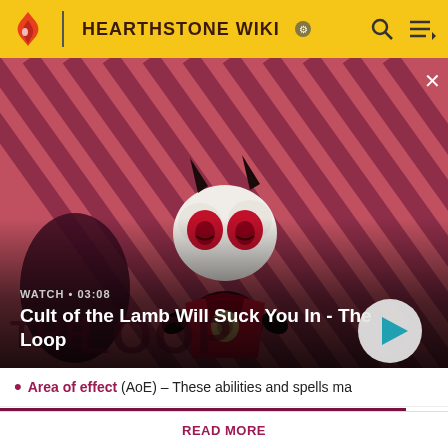HEARTHSTONE WIKI
[Figure (screenshot): Video thumbnail showing a character from Cult of the Lamb game with diagonal striped red/pink background. Shows 'WATCH • 03:08' label and title 'Cult of the Lamb Will Suck You In - The Loop' with a play button.]
Area of effect (AoE) – These abilities and spells ma...
Hearthstone Wiki's database has been updated to Patch 24.0.0.145077!
READ MORE